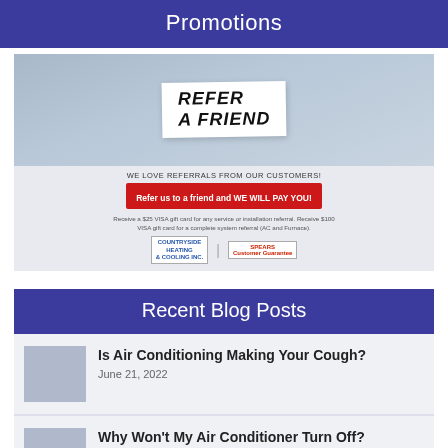Promotions
[Figure (photo): Person holding a white card that reads REFER A FRIEND, with Countryside Heating & Cooling Inc. branding and referral offer text below]
Recent Blog Posts
Is Air Conditioning Making Your Cough? — June 21, 2022
Why Won't My Air Conditioner Turn Off?